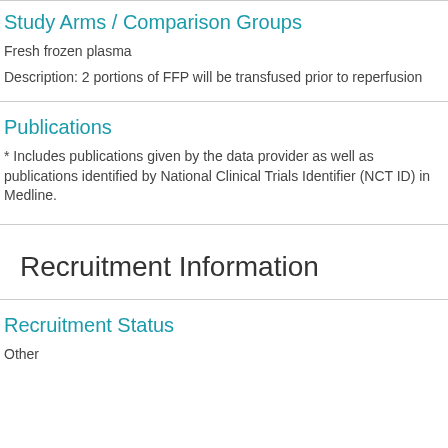Study Arms / Comparison Groups
Fresh frozen plasma
Description: 2 portions of FFP will be transfused prior to reperfusion
Publications
* Includes publications given by the data provider as well as publications identified by National Clinical Trials Identifier (NCT ID) in Medline.
Recruitment Information
Recruitment Status
Other